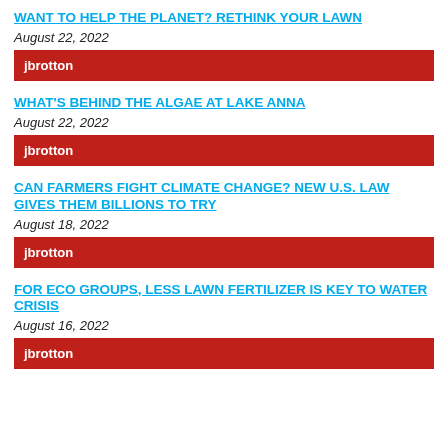WANT TO HELP THE PLANET? RETHINK YOUR LAWN
August 22, 2022
jbrotton
WHAT'S BEHIND THE ALGAE AT LAKE ANNA
August 22, 2022
jbrotton
CAN FARMERS FIGHT CLIMATE CHANGE? NEW U.S. LAW GIVES THEM BILLIONS TO TRY
August 18, 2022
jbrotton
FOR ECO GROUPS, LESS LAWN FERTILIZER IS KEY TO WATER CRISIS
August 16, 2022
jbrotton